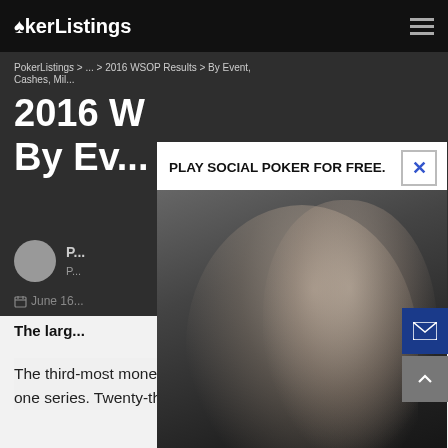PokerListings
PokerListings > ... > 2016 WSOP Results By Event, Cashes, Mil...
2016 W... results By Ev...
[Figure (photo): Advertisement popup overlay: 'PLAY SOCIAL POKER FOR FREE.' with man smiling, WELCOME OFFER: GET A $40 GOLD COIN OFFER FOR JUST $20. CLAIM BONUS NOW. Global Poker branding.]
P... - Posted by ...
June 16...
The larg...
The third-most money ever awarded. The most bracelets in one series. Twenty-three players who cashed for over $1m.